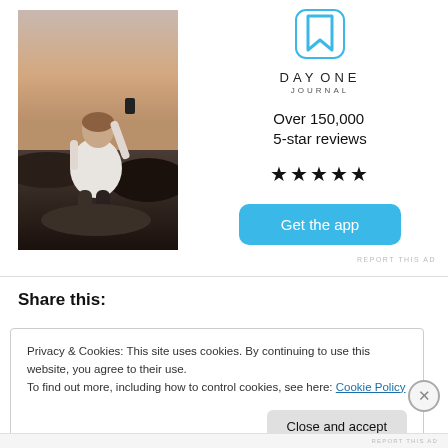[Figure (photo): Person sitting on rocks from behind, holding a phone toward the sunset sky, wearing a white t-shirt]
[Figure (logo): Day One Journal app logo: blue bookmark icon above 'DAYONE JOURNAL' text]
Over 150,000 5-star reviews
★★★★★
Get the app
REPORT THIS AD
Share this:
Privacy & Cookies: This site uses cookies. By continuing to use this website, you agree to their use.
To find out more, including how to control cookies, see here: Cookie Policy
Close and accept